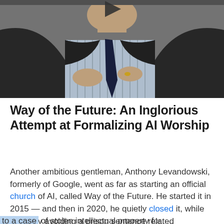[Figure (photo): A man in a dark suit and striped shirt with a tie, gesturing with his hands. Only the lower face, neck, and torso are visible. A video play button triangle is visible at the top.]
Way of the Future: An Inglorious Attempt at Formalizing AI Worship
Another ambitious gentleman, Anthony Levandowski, formerly of Google, went as far as starting an official church of AI, called Way of the Future. He started it in 2015 — and then in 2020, he quietly closed it, while narrowly avoiding a prison sentence related to a case of stolen intellectual property for...